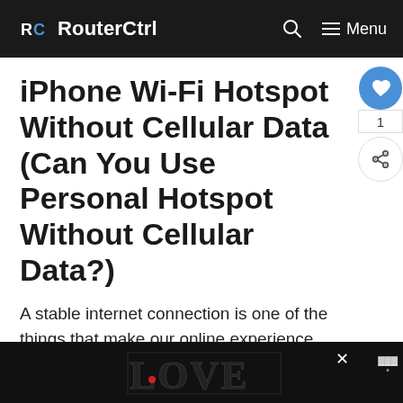RC RouterCtrl
iPhone Wi-Fi Hotspot Without Cellular Data (Can You Use Personal Hotspot Without Cellular Data?)
A stable internet connection is one of the things that make our online experience worthwhile. An inconsistent connection